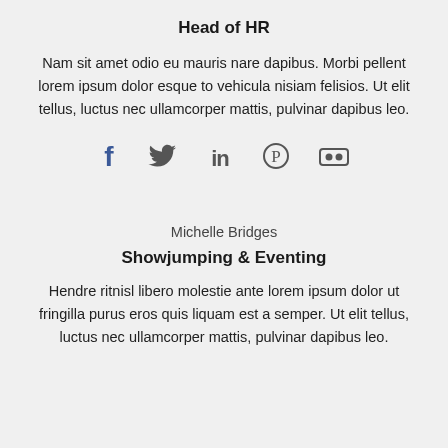Head of HR
Nam sit amet odio eu mauris nare dapibus. Morbi pellent lorem ipsum dolor esque to vehicula nisiam felisios. Ut elit tellus, luctus nec ullamcorper mattis, pulvinar dapibus leo.
[Figure (infographic): Five social media icons in a row: Facebook (blue), Twitter, LinkedIn, Pinterest, Flickr (all dark gray)]
Michelle Bridges
Showjumping & Eventing
Hendre ritnisl libero molestie ante lorem ipsum dolor ut fringilla purus eros quis liquam est a semper. Ut elit tellus, luctus nec ullamcorper mattis, pulvinar dapibus leo.